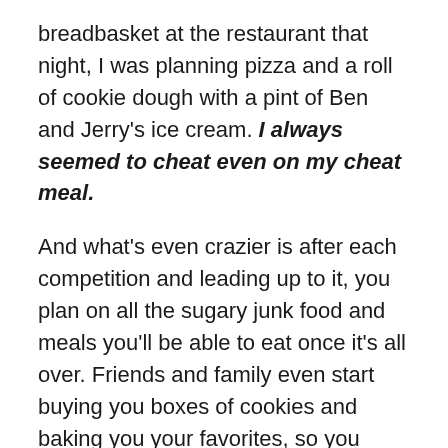breadbasket at the restaurant that night, I was planning pizza and a roll of cookie dough with a pint of Ben and Jerry's ice cream. I always seemed to cheat even on my cheat meal.
And what's even crazier is after each competition and leading up to it, you plan on all the sugary junk food and meals you'll be able to eat once it's all over. Friends and family even start buying you boxes of cookies and baking you your favorites, so you have them waiting to celebrate the night after the competition. I can't tell you what a sugar high I was on after each competition.
In the years to come I discovered that